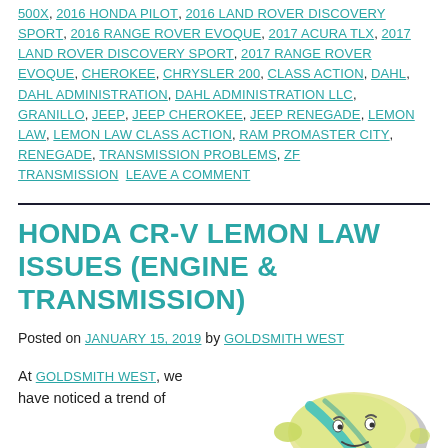500X, 2016 HONDA PILOT, 2016 LAND ROVER DISCOVERY SPORT, 2016 RANGE ROVER EVOQUE, 2017 ACURA TLX, 2017 LAND ROVER DISCOVERY SPORT, 2017 RANGE ROVER EVOQUE, CHEROKEE, CHRYSLER 200, CLASS ACTION, DAHL, DAHL ADMINISTRATION, DAHL ADMINISTRATION LLC, GRANILLO, JEEP, JEEP CHEROKEE, JEEP RENEGADE, LEMON LAW, LEMON LAW CLASS ACTION, RAM PROMASTER CITY, RENEGADE, TRANSMISSION PROBLEMS, ZF TRANSMISSION  LEAVE A COMMENT
HONDA CR-V LEMON LAW ISSUES (ENGINE & TRANSMISSION)
Posted on JANUARY 15, 2019 by GOLDSMITH WEST
At GOLDSMITH WEST, we have noticed a trend of
[Figure (illustration): Cartoon lemon illustration with a face, colored yellow-green with a gray/silver outline and blue-teal highlights, used as a visual pun for 'lemon law']